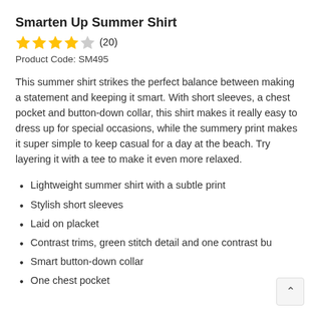Smarten Up Summer Shirt
[Figure (other): Star rating: 4 filled gold stars, 1 half/empty star, with review count (20)]
Product Code: SM495
This summer shirt strikes the perfect balance between making a statement and keeping it smart. With short sleeves, a chest pocket and button-down collar, this shirt makes it really easy to dress up for special occasions, while the summery print makes it super simple to keep casual for a day at the beach. Try layering it with a tee to make it even more relaxed.
Lightweight summer shirt with a subtle print
Stylish short sleeves
Laid on placket
Contrast trims, green stitch detail and one contrast bu…
Smart button-down collar
One chest pocket